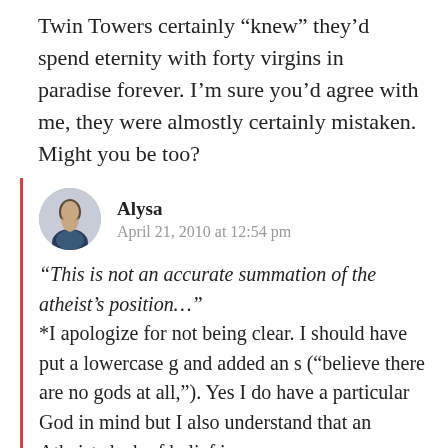Twin Towers certainly “knew” they’d spend eternity with forty virgins in paradise forever. I’m sure you’d agree with me, they were almostly certainly mistaken. Might you be too?
Alysa
April 21, 2010 at 12:54 pm
“This is not an accurate summation of the atheist’s position…” *I apologize for not being clear. I should have put a lowercase g and added an s (“believe there are no gods at all,”). Yes I do have a particular God in mind but I also understand that an Atheists lack of belief in